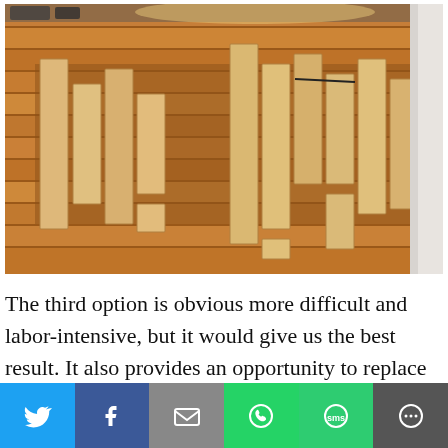[Figure (photo): Photo of a hardwood floor being repaired or replaced, with numerous wooden planks laid out across the existing floor boards in a staggered pattern. The room shows an in-progress flooring renovation.]
The third option is obvious more difficult and labor-intensive, but it would give us the best result. It also provides an opportunity to replace some old planks that
[Figure (infographic): Social media share bar with buttons for Twitter, Facebook, Email, WhatsApp, SMS, and More options]